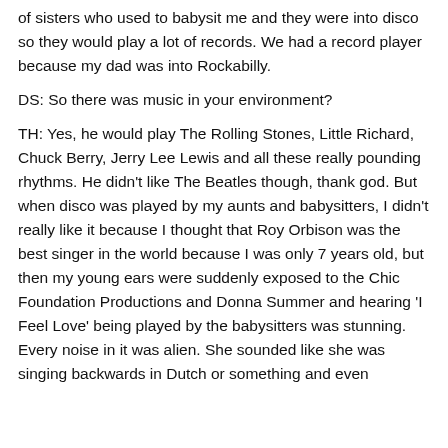of sisters who used to babysit me and they were into disco so they would play a lot of records. We had a record player because my dad was into Rockabilly.
DS: So there was music in your environment?
TH: Yes, he would play The Rolling Stones, Little Richard, Chuck Berry, Jerry Lee Lewis and all these really pounding rhythms. He didn't like The Beatles though, thank god. But when disco was played by my aunts and babysitters, I didn't really like it because I thought that Roy Orbison was the best singer in the world because I was only 7 years old, but then my young ears were suddenly exposed to the Chic Foundation Productions and Donna Summer and hearing 'I Feel Love' being played by the babysitters was stunning. Every noise in it was alien. She sounded like she was singing backwards in Dutch or something and even